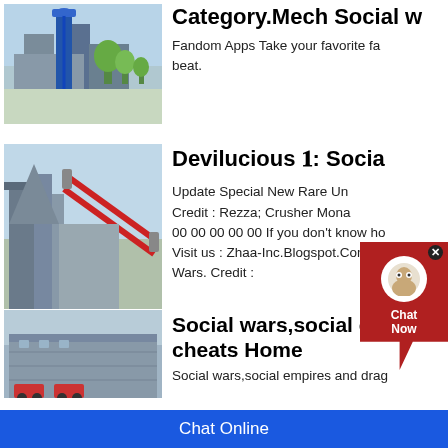[Figure (photo): Industrial facility with blue tower structure against sky]
Category.Mech Social w…
Fandom Apps Take your favorite fa… beat.
[Figure (photo): Industrial conveyor belt and machinery]
Devilucious 𝟏: Social…
Update Special New Rare Un… Credit : Rezza; Crusher Mona… 00 00 00 00 00 If you don't know ho… Visit us : Zhaa-Inc.Blogspot.Com. U… Wars. Credit :
[Figure (photo): Large industrial building structure]
Social wars,social empires cheats Home
Social wars,social empires and drag…
Chat Online